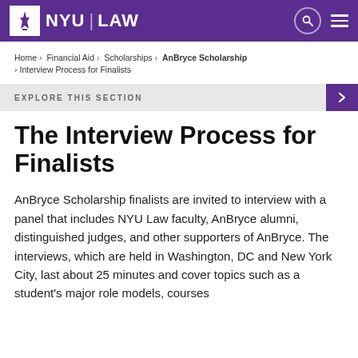NYU LAW
Home › Financial Aid › Scholarships › AnBryce Scholarship › Interview Process for Finalists
EXPLORE THIS SECTION
The Interview Process for Finalists
AnBryce Scholarship finalists are invited to interview with a panel that includes NYU Law faculty, AnBryce alumni, distinguished judges, and other supporters of AnBryce. The interviews, which are held in Washington, DC and New York City, last about 25 minutes and cover topics such as a student's major role models, courses